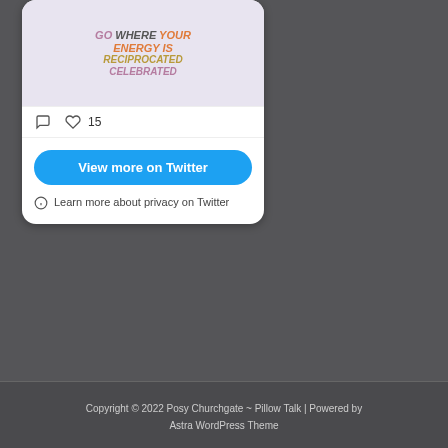[Figure (illustration): Colorful motivational quote image: 'GO WHERE YOUR ENERGY IS RECIPROCATED CELEBRATED' in pink, brown, orange, and olive colored retro lettering on a white/light background]
♡ 15
View more on Twitter
ⓘ Learn more about privacy on Twitter
Copyright © 2022 Posy Churchgate ~ Pillow Talk | Powered by Astra WordPress Theme